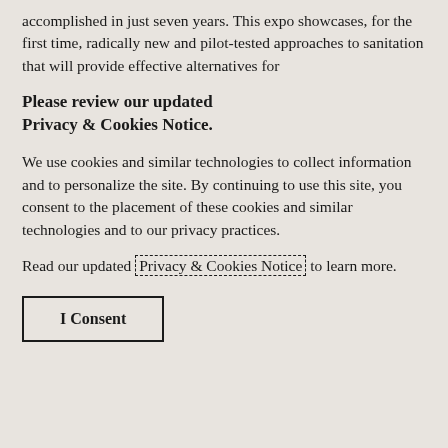accomplished in just seven years. This expo showcases, for the first time, radically new and pilot-tested approaches to sanitation that will provide effective alternatives for
Please review our updated Privacy & Cookies Notice.
We use cookies and similar technologies to collect information and to personalize the site. By continuing to use this site, you consent to the placement of these cookies and similar technologies and to our privacy practices.
Read our updated Privacy & Cookies Notice to learn more.
I Consent